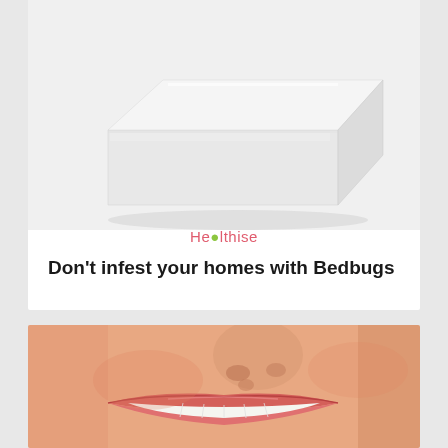[Figure (photo): A white rectangular product box on a light gray background, photographed at an angle showing top and front faces]
[Figure (logo): Healthise logo in pink/red text with a green circle replacing the letter 'a']
Don't infest your homes with Bedbugs
[Figure (photo): Close-up of a smiling woman's face showing her nose, lips, and white teeth, with a warm skin tone]